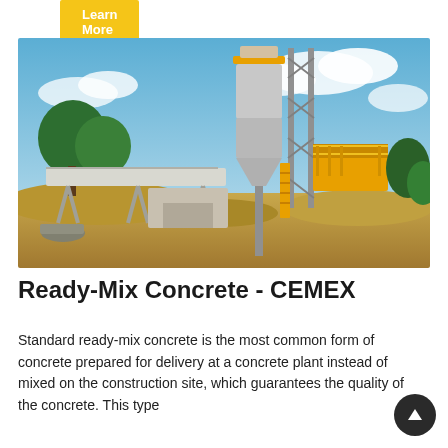Learn More
[Figure (photo): A ready-mix concrete batching plant with a large cylindrical silo tower topped with a yellow funnel, a steel lattice support structure, conveyor belt system, and aggregate stockpiles in the foreground, under a bright cloudy blue sky with trees in the background.]
Ready-Mix Concrete - CEMEX
Standard ready-mix concrete is the most common form of concrete prepared for delivery at a concrete plant instead of mixed on the construction site, which guarantees the quality of the concrete. This type